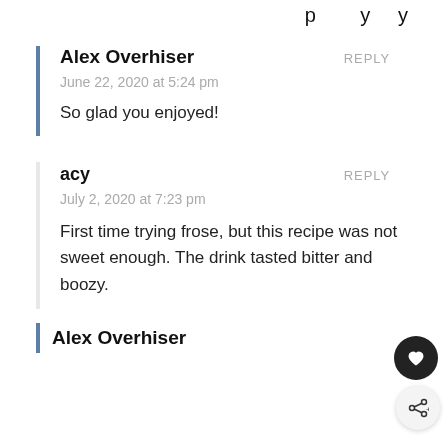(partial top text cut off)
Alex Overhiser
REPLY
June 22, 2020 at 5:24 pm
So glad you enjoyed!
acy
REPLY
July 2, 2020 at 7:23 pm
First time trying frose, but this recipe was not sweet enough. The drink tasted bitter and boozy.
Alex Overhiser